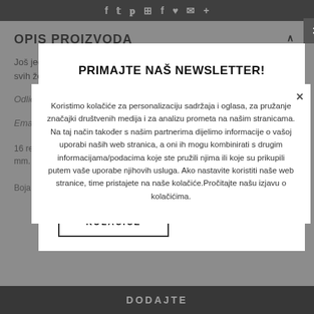Social media icons bar
OPIS PROIZVODA
Još jedan novi oblik za posebne efekte i ispunjavanje svih želja našim klijenticama.
PRIMAJTE NAŠ NEWSLETTER!
Prvi saznajte sve o novostima i popustima iz naše ponude
Koristimo kolačiće za personalizaciju sadržaja i oglasa, za pružanje značajki društvenih medija i za analizu prometa na našim stranicama. Na taj način također s našim partnerima dijelimo informacije o vašoj uporabi naših web stranica, a oni ih mogu kombinirati s drugim informacijama/podacima koje ste pružili njima ili koje su prikupili putem vaše uporabe njihovih usluga. Ako nastavite koristiti naše web stranice, time pristajete na naše kolačiće.Pročitajte našu izjavu o kolačićima.
POTVRDI
PRIHVATI KOLAČIĆE
POLITIKA PRIVATNOSTI
DODAJTE